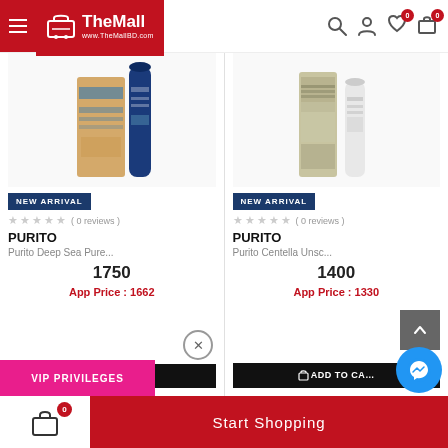TheMall www.TheMallBD.com — navigation header with hamburger menu, search, user, wishlist (0), cart (0) icons
[Figure (photo): Product image: Purito Deep Sea Pure cream/serum product box and tube, blue and kraft packaging]
NEW ARRIVAL
( 0 reviews )
PURITO
Purito Deep Sea Pure...
1750
App Price : 1662
ADD TO CART
[Figure (photo): Product image: Purito Centella Unscented serum/cream product tubes, beige and white packaging]
NEW ARRIVAL
( 0 reviews )
PURITO
Purito Centella Unsc...
1400
App Price : 1330
ADD TO CART
VIP PRIVILEGES
Start Shopping